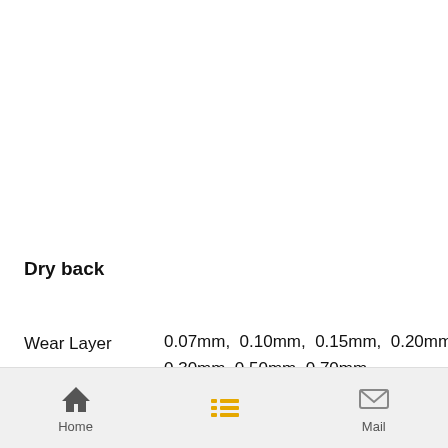Dry back
Wear Layer	0.07mm,  0.10mm,  0.15mm,  0.20mm,  0.30mm, 0.50mm, 0.70mm
Home | (list icon) | Mail